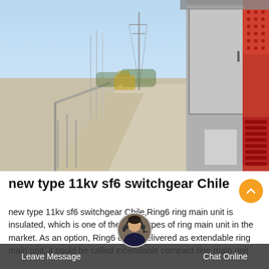[Figure (photo): Outdoor industrial/electrical substation site photo showing a concrete walkway or bridge with metal railings on the left, power line towers in the background, and on the right side a large electrical switchgear cabinet with red and grey panels and ventilation grilles.]
new type 11kv sf6 switchgear Chile
new type 11kv sf6 switchgear Chile,Ring6 ring main unit is insulated, which is one of the types of ring main unit in the market. As an option, Ring6 can be delivered as extendable ring main unit, it could be called extendable compact ring main unit.